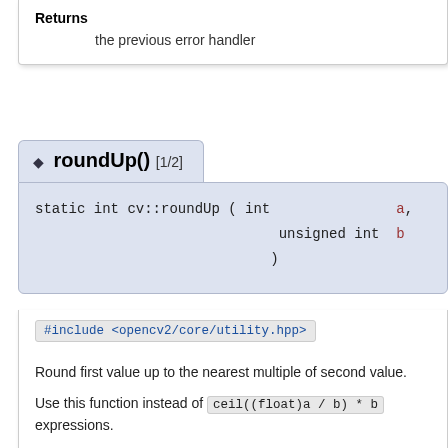Returns
the previous error handler
◆ roundUp() [1/2]
static int cv::roundUp ( int  a,
                        unsigned int  b
                       )
#include <opencv2/core/utility.hpp>
Round first value up to the nearest multiple of second value.
Use this function instead of ceil((float)a / b) * b expressions.
See also
divUp